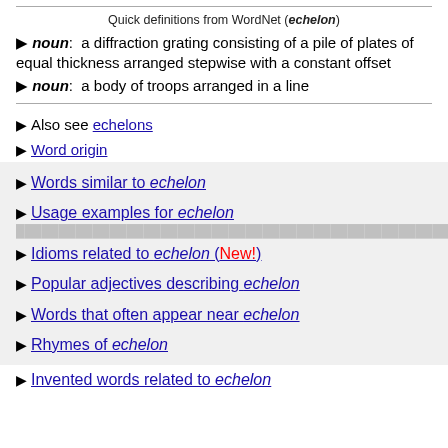Quick definitions from WordNet (echelon)
▶ noun: a diffraction grating consisting of a pile of plates of equal thickness arranged stepwise with a constant offset
▶ noun: a body of troops arranged in a line
▶ Also see echelons
▶ Word origin
▶ Words similar to echelon
▶ Usage examples for echelon
▶ Idioms related to echelon (New!)
▶ Popular adjectives describing echelon
▶ Words that often appear near echelon
▶ Rhymes of echelon
▶ Invented words related to echelon